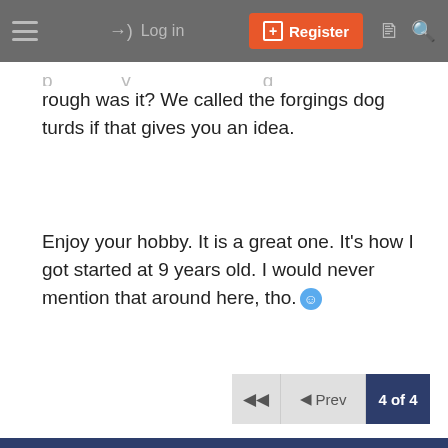Log in | Register
rough was it? We called the forgings dog turds if that gives you an idea.
Enjoy your hobby. It is a great one. It's how I got started at 9 years old. I would never mention that around here, tho.
◀◀  ◀ Prev  4 of 4
Similar threads
How to turn/grind between centers with deliberate small eccentricity?
sfriedberg · General